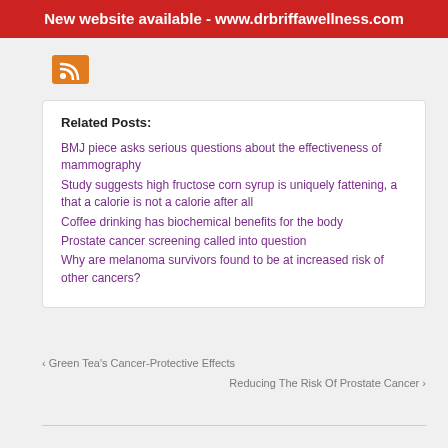New website available - www.drbriffawellness.com
Related Posts:
BMJ piece asks serious questions about the effectiveness of mammography
Study suggests high fructose corn syrup is uniquely fattening, a that a calorie is not a calorie after all
Coffee drinking has biochemical benefits for the body
Prostate cancer screening called into question
Why are melanoma survivors found to be at increased risk of other cancers?
‹ Green Tea's Cancer-Protective Effects
Reducing The Risk Of Prostate Cancer ›